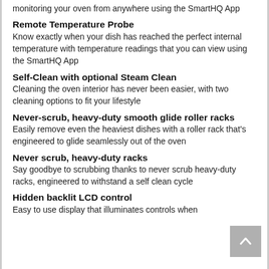monitoring your oven from anywhere using the SmartHQ App
Remote Temperature Probe
Know exactly when your dish has reached the perfect internal temperature with temperature readings that you can view using the SmartHQ App
Self-Clean with optional Steam Clean
Cleaning the oven interior has never been easier, with two cleaning options to fit your lifestyle
Never-scrub, heavy-duty smooth glide roller racks
Easily remove even the heaviest dishes with a roller rack that's engineered to glide seamlessly out of the oven
Never scrub, heavy-duty racks
Say goodbye to scrubbing thanks to never scrub heavy-duty racks, engineered to withstand a self clean cycle
Hidden backlit LCD control
Easy to use display that illuminates controls when